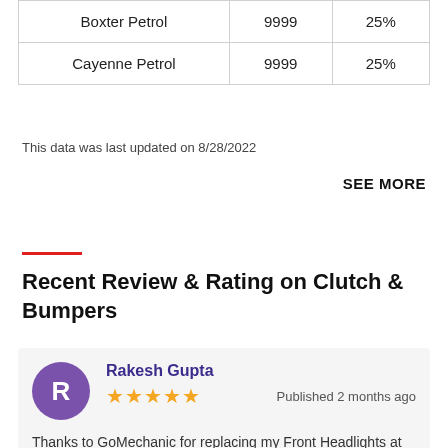| Boxter Petrol | 9999 | 25% |
| Cayenne Petrol | 9999 | 25% |
This data was last updated on 8/28/2022
SEE MORE
Recent Review & Rating on Clutch & Bumpers
Rakesh Gupta
★★★★★  Published 2 months ago
Thanks to GoMechanic for replacing my Front Headlights at much lower rates than authorised workshops. You guys are awesome.